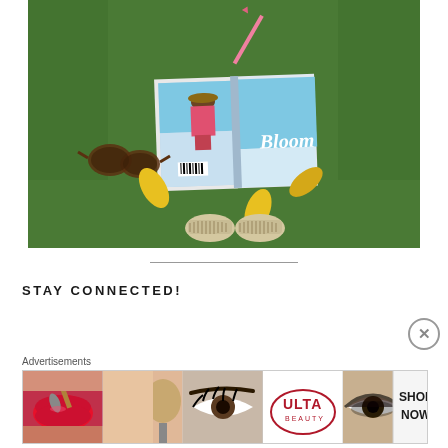[Figure (photo): Overhead flat-lay photo on green grass showing an open book/magazine with 'Bloom' on the cover featuring a woman in a pink dress and sun hat at a beach, sunglasses, yellow flower petals, a pink pen, and espadrille shoes at the bottom]
STAY CONNECTED!
[Figure (screenshot): Advertisement banner for ULTA Beauty showing close-up makeup images including red lips with brush, eyebrow, ULTA Beauty logo, eye makeup, and SHOP NOW button]